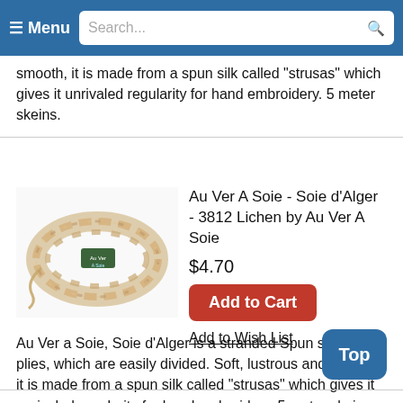≡ Menu   Search...
smooth, it is made from a spun silk called "strusas" which gives it unrivaled regularity for hand embroidery. 5 meter skeins.
[Figure (photo): A skein of tan/golden silk embroidery thread (Soie d'Alger 3812 Lichen)]
Au Ver A Soie - Soie d'Alger - 3812 Lichen by Au Ver A Soie
$4.70
Add to Cart
Add to Wish List
Au Ver a Soie, Soie d'Alger is a stranded Spun silk with 7 plies, which are easily divided. Soft, lustrous and smooth, it is made from a spun silk called "strusas" which gives it unrivaled regularity for hand embroidery. 5 meter skeins.